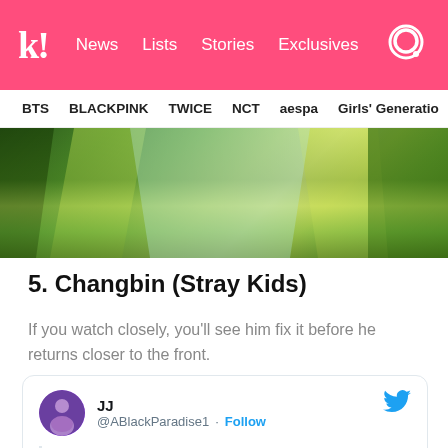Koreaboo — News | Lists | Stories | Exclusives
BTS  BLACKPINK  TWICE  NCT  aespa  Girls' Generation
[Figure (photo): Cropped image showing green and yellow toned background, partial performance scene]
5. Changbin (Stray Kids)
If you watch closely, you'll see him fix it before he returns closer to the front.
JJ @ABlackParadise1 · Follow — Changbin handled his wardrobe malfunction so smoothly